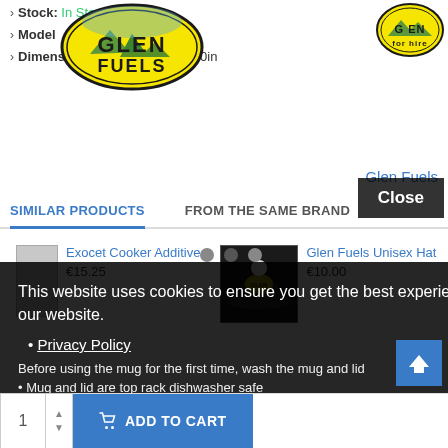Stock: In Stock
Model: [partially obscured by logo]
Dimensions: [obscured] x 4.00in x 6.50in
[Figure (logo): Glen Fuels oval logo with mountain illustration, top-left large overlay]
[Figure (logo): Glen Fuels smaller oval logo top-right]
Glen Fuels
SIMILAR PRODUCTS
FROM THE SAME BRAND
Exocet Cooker Additive
€15.25
[Figure (photo): Black knit hat with Glen Fuels logo]
Glen Fuels Unisex Hat
€10.00
Close
This website uses cookies to ensure you get the best experience on our website.
Privacy Policy
Before using the mug for the first time, wash the mug and lid
Mug and lid are top rack dishwasher safe
Preferences
Accept